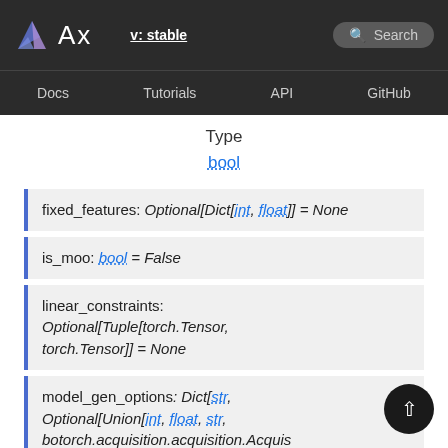Ax  v: stable  Search
Docs  Tutorials  API  GitHub
Type
bool
fixed_features: Optional[Dict[int, float]] = None
is_moo: bool = False
linear_constraints: Optional[Tuple[torch.Tensor, torch.Tensor]] = None
model_gen_options: Dict[str, Optional[Union[int, float, str, botorch.acquisition.acquisition.AcquisitionFunction, Dict[str, Any],